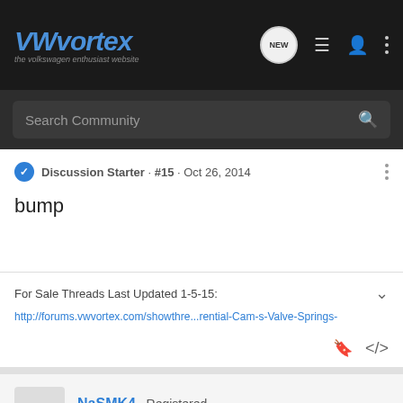VWvortex · the volkswagen enthusiast website
Search Community
Discussion Starter · #15 · Oct 26, 2014
bump
For Sale Threads Last Updated 1-5-15:
http://forums.vwvortex.com/showthre...rential-Cam-s-Valve-Springs-
NaSMK4 · Registered
Joined Dec 11, 2011 · 1,662 Posts